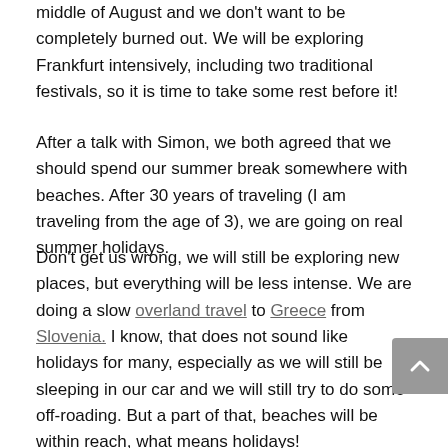middle of August and we don't want to be completely burned out. We will be exploring Frankfurt intensively, including two traditional festivals, so it is time to take some rest before it!
After a talk with Simon, we both agreed that we should spend our summer break somewhere with beaches. After 30 years of traveling (I am traveling from the age of 3), we are going on real summer holidays.
Don't get us wrong, we will still be exploring new places, but everything will be less intense. We are doing a slow overland travel to Greece from Slovenia. I know, that does not sound like holidays for many, especially as we will still be sleeping in our car and we will still try to do some off-roading. But a part of that, beaches will be within reach, what means holidays!
We traveled overland to Greece from Slovenia 2 years ago and we have not visited any islands then and that is why we have decided to spend 4 days at Lefkada island. The Lefkada Island was chosen